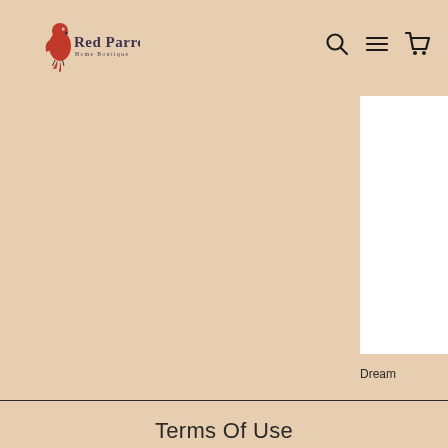Red Parrot Home Boutique — navigation header with search, menu, and cart icons
[Figure (logo): Red Parrot Home Boutique logo: red parrot bird perched, with text 'Red Parrot' in dark serif and 'Home Boutique' in smaller caps below]
[Figure (photo): Partial white product card visible at right edge, partially cropped, with label 'Dream' below]
Dream
Terms Of Use